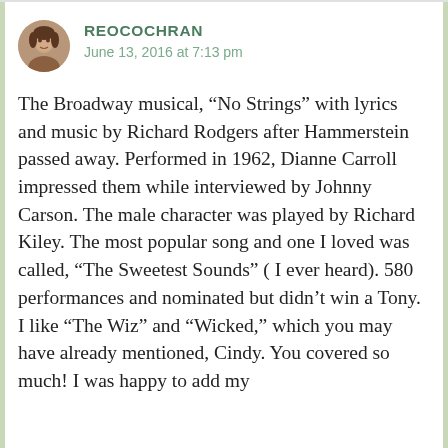REOCOCHRAN
June 13, 2016 at 7:13 pm
The Broadway musical, “No Strings” with lyrics and music by Richard Rodgers after Hammerstein passed away. Performed in 1962, Dianne Carroll impressed them while interviewed by Johnny Carson. The male character was played by Richard Kiley. The most popular song and one I loved was called, “The Sweetest Sounds” ( I ever heard). 580 performances and nominated but didn’t win a Tony.
I like “The Wiz” and “Wicked,” which you may have already mentioned, Cindy. You covered so much! I was happy to add my